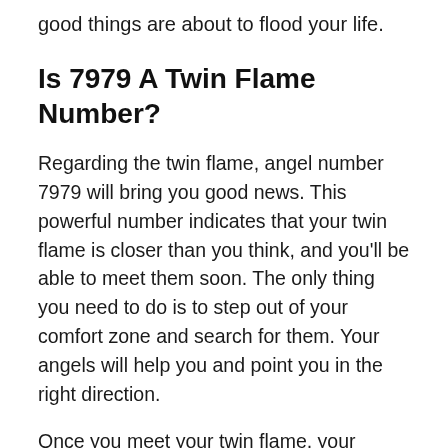good things are about to flood your life.
Is 7979 A Twin Flame Number?
Regarding the twin flame, angel number 7979 will bring you good news. This powerful number indicates that your twin flame is closer than you think, and you'll be able to meet them soon. The only thing you need to do is to step out of your comfort zone and search for them. Your angels will help you and point you in the right direction.
Once you meet your twin flame, your problems will instantly disappear, and life will become much happier for both of you. Regarding love, angel number 7979 brings a lot of good news. If there was a problem in your relationship recently, this divine help might fix everything wrong with this person. You'll meet someone special soon, and this will have a positive effect on both of you.